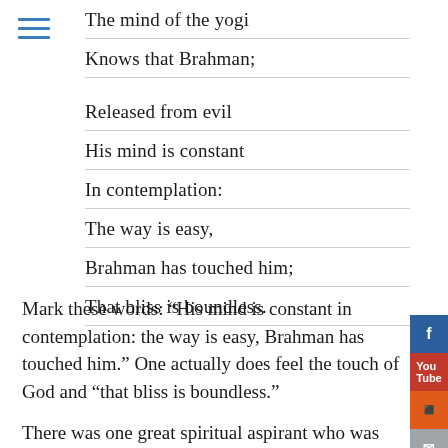The mind of the yogi
Knows that Brahman;
Released from evil
His mind is constant
In contemplation:
The way is easy,
Brahman has touched him;
That bliss is boundless.
Mark these words: “His mind is constant in contemplation: the way is easy, Brahman has touched him.” One actually does feel the touch of God and “that bliss is boundless.”
There was one great spiritual aspirant who was aware of the difficulty that arises in the